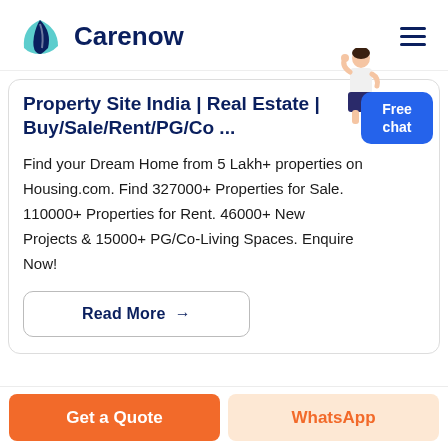Carenow
Property Site India | Real Estate | Buy/Sale/Rent/PG/Co ...
Find your Dream Home from 5 Lakh+ properties on Housing.com. Find 327000+ Properties for Sale. 110000+ Properties for Rent. 46000+ New Projects & 15000+ PG/Co-Living Spaces. Enquire Now!
Read More →
Free chat
Get a Quote | WhatsApp